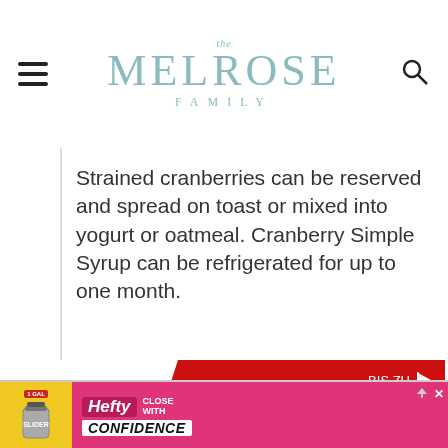The Melrose Family
Strained cranberries can be reserved and spread on toast or mixed into yogurt or oatmeal. Cranberry Simple Syrup can be refrigerated for up to one month.
[Figure (infographic): Tipico advertisement banner: red background with white tipico logo on left, text 'BIS ZU' and '100€ BONUS' on right]
[Figure (infographic): Hefty Slider Bags advertisement: yellow and pink background with Hefty brand logo and text 'CLOSE WITH CONFIDENCE']